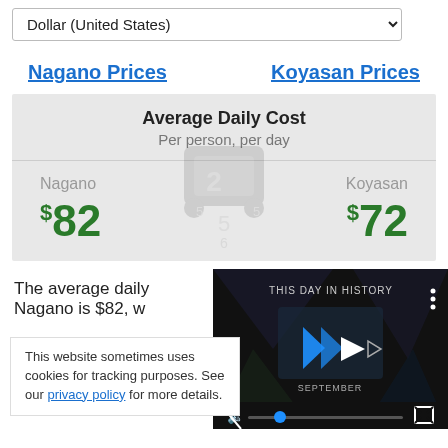Dollar (United States)
Nagano Prices
Koyasan Prices
|  | Average Daily Cost
Per person, per day |  |
| --- | --- | --- |
| Nagano
$82 |  | Koyasan
$72 |
The average daily cost in Nagano is $82, w...
This website sometimes uses cookies for tracking purposes. See our privacy policy for more details.
[Figure (screenshot): Video player thumbnail showing 'THIS DAY IN HISTORY' with play button and blue logo icon, muted with progress bar]